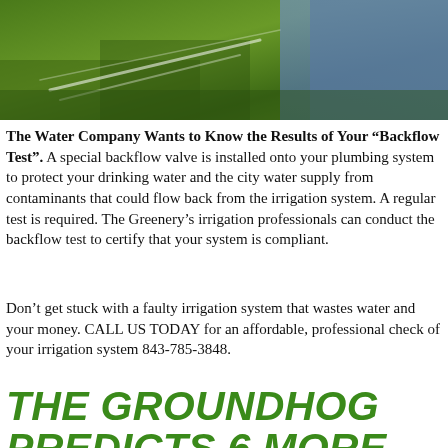[Figure (photo): Outdoor photo showing green grass with water sprinkler spray and a blue/grey element in the upper right corner]
The Water Company Wants to Know the Results of Your “Backflow Test”. A special backflow valve is installed onto your plumbing system to protect your drinking water and the city water supply from contaminants that could flow back from the irrigation system. A regular test is required. The Greenery’s irrigation professionals can conduct the backflow test to certify that your system is compliant.
Don’t get stuck with a faulty irrigation system that wastes water and your money. CALL US TODAY for an affordable, professional check of your irrigation system 843-785-3848.
Posted in Uncategorized
THE GROUNDHOG PREDICTS 6 MORE WEEKS